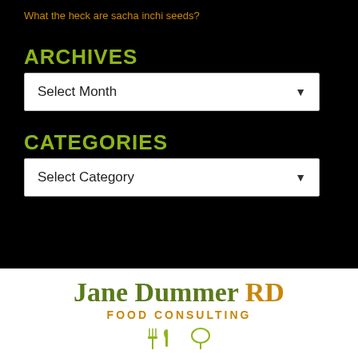What the heck are sacha inchi seeds?
ARCHIVES
Select Month
CATEGORIES
Select Category
Jane Dummer RD
FOOD CONSULTING